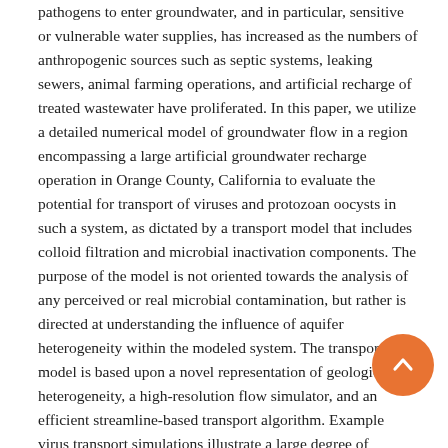pathogens to enter groundwater, and in particular, sensitive or vulnerable water supplies, has increased as the numbers of anthropogenic sources such as septic systems, leaking sewers, animal farming operations, and artificial recharge of treated wastewater have proliferated. In this paper, we utilize a detailed numerical model of groundwater flow in a region encompassing a large artificial groundwater recharge operation in Orange County, California to evaluate the potential for transport of viruses and protozoan oocysts in such a system, as dictated by a transport model that includes colloid filtration and microbial inactivation components. The purpose of the model is not oriented towards the analysis of any perceived or real microbial contamination, but rather is directed at understanding the influence of aquifer heterogeneity within the modeled system. The transport model is based upon a novel representation of geologic heterogeneity, a high-resolution flow simulator, and an efficient streamline-based transport algorithm. Example virus transport simulations illustrate a large degree of variability in virus breakthrough across water supply pumping wells, with shallower wells providing less than two orders of magnitude of virus removal, and deeper wells indicating many orders of magnitude of virus removal. Simulation results also show variability across the more modeled with County spatial ...